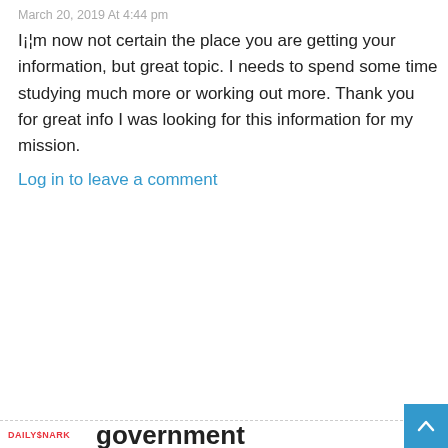March 20, 2019 At 4:44 pm
I¡¦m now not certain the place you are getting your information, but great topic. I needs to spend some time studying much more or working out more. Thank you for great info I was looking for this information for my mission.
Log in to leave a comment
[Figure (logo): DAILYSNARK logo in red bold text]
government
March 20, 2019 At 4:44 pm
I actually wanted to compose a simple message to be able to express gratitude to you for the lovely tactics you are showing on this website. My rather long internet investigation has at the end been rewarded with reasonable details to write about with my relatives. I 'd express that we readers actually are quite lucky to exist in a remarkable place with many wonderful people with very helpful things. I feel rather fortunate to have seen your entire site and look forward to really more thrilling minutes reading here. Thank you once more for this...